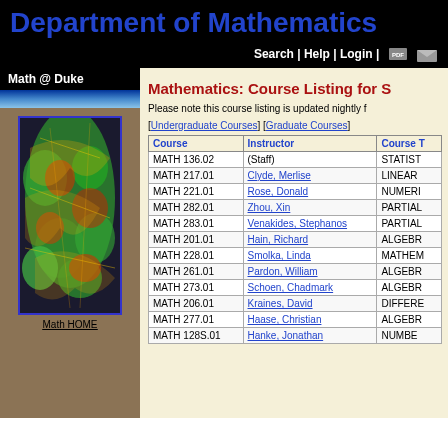Department of Mathematics
Search | Help | Login |
Math @ Duke
[Figure (illustration): Colorful fractal-like mathematical visualization with green, red, and yellow cells on dark background, bordered in blue]
Mathematics: Course Listing for S
Please note this course listing is updated nightly f
[Undergraduate Courses]  [Graduate Courses]
| Course | Instructor | Course T |
| --- | --- | --- |
| MATH 136.02 | (Staff) | STATIST |
| MATH 217.01 | Clyde, Merlise | LINEAR  |
| MATH 221.01 | Rose, Donald | NUMERI |
| MATH 282.01 | Zhou, Xin | PARTIAL |
| MATH 283.01 | Venakides, Stephanos | PARTIAL |
| MATH 201.01 | Hain, Richard | ALGEBR |
| MATH 228.01 | Smolka, Linda | MATHEM |
| MATH 261.01 | Pardon, William | ALGEBR |
| MATH 273.01 | Schoen, Chadmark | ALGEBR |
| MATH 206.01 | Kraines, David | DIFFERE |
| MATH 277.01 | Haase, Christian | ALGEBR |
| MATH 128S.01 | Hanke, Jonathan | NUMBE |